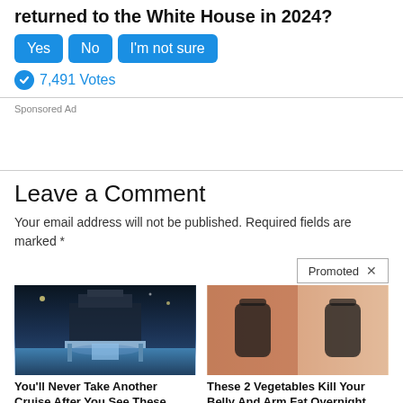returned to the White House in 2024?
Yes  No  I'm not sure
7,491 Votes
Sponsored Ad
Leave a Comment
Your email address will not be published. Required fields are marked *
Promoted X
[Figure (photo): Cruise ship pool deck at night]
[Figure (photo): Before and after weight loss back view photos of a woman]
You'll Never Take Another Cruise After You See These Photos
3,146
These 2 Vegetables Kill Your Belly And Arm Fat Overnight
161,816